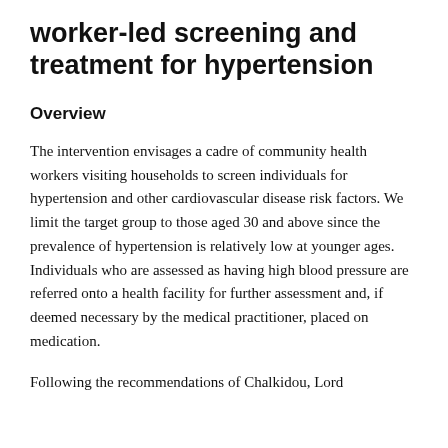worker-led screening and treatment for hypertension
Overview
The intervention envisages a cadre of community health workers visiting households to screen individuals for hypertension and other cardiovascular disease risk factors. We limit the target group to those aged 30 and above since the prevalence of hypertension is relatively low at younger ages. Individuals who are assessed as having high blood pressure are referred onto a health facility for further assessment and, if deemed necessary by the medical practitioner, placed on medication.
Following the recommendations of Chalkidou, Lord